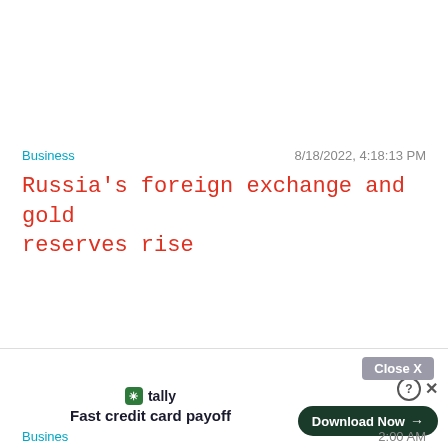Business
8/18/2022, 4:18:13 PM
Russia's foreign exchange and gold reserves rise
[Figure (screenshot): Advertisement banner for Tally app: 'Fast credit card payoff' with a 'Download Now' button and a 'Close X' button.]
Busines
2:00 AM